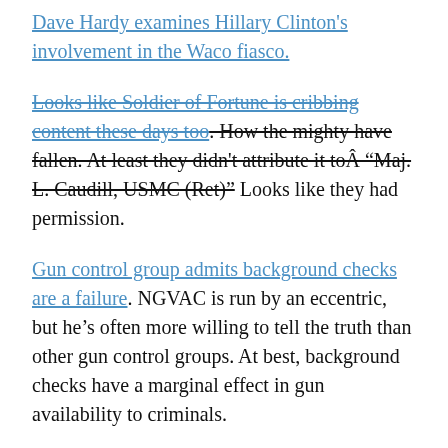Dave Hardy examines Hillary Clinton's involvement in the Waco fiasco.
Looks like Soldier of Fortune is cribbing content these days too. How the mighty have fallen. At least they didn't attribute it to "Maj. L. Caudill, USMC (Ret)" Looks like they had permission.
Gun control group admits background checks are a failure. NGVAC is run by an eccentric, but he's often more willing to tell the truth than other gun control groups. At best, background checks have a marginal effect in gun availability to criminals.